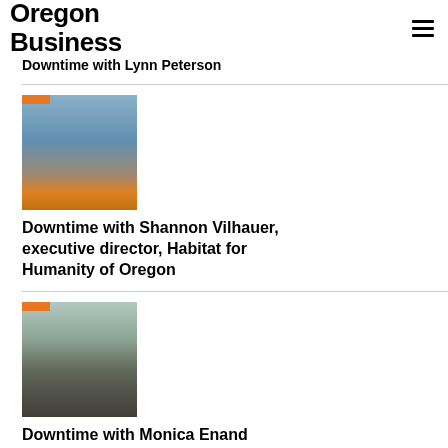Oregon Business
Downtime with Lynn Peterson
[Figure (photo): Person kayaking in an orange kayak on water, wearing sunglasses]
Downtime with Shannon Vilhauer, executive director, Habitat for Humanity of Oregon
[Figure (photo): Person standing outdoors holding a round object, cloudy sky background]
Downtime with Monica Enand
[Figure (photo): Person standing outdoors near trees/foliage]